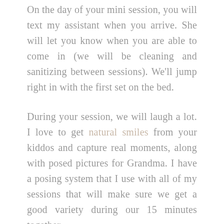On the day of your mini session, you will text my assistant when you arrive. She will let you know when you are able to come in (we will be cleaning and sanitizing between sessions). We'll jump right in with the first set on the bed.
During your session, we will laugh a lot. I love to get natural smiles from your kiddos and capture real moments, along with posed pictures for Grandma. I have a posing system that I use with all of my sessions that will make sure we get a good variety during our 15 minutes together.